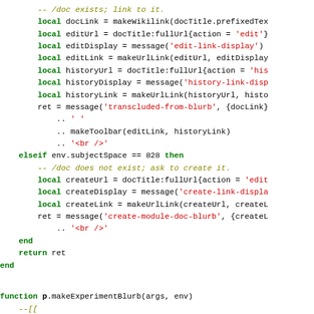Code snippet showing Lua source code for documentation/module functions